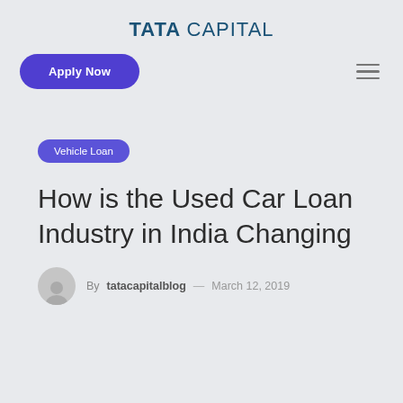TATA CAPITAL
Apply Now
Vehicle Loan
How is the Used Car Loan Industry in India Changing
By tatacapitalblog — March 12, 2019